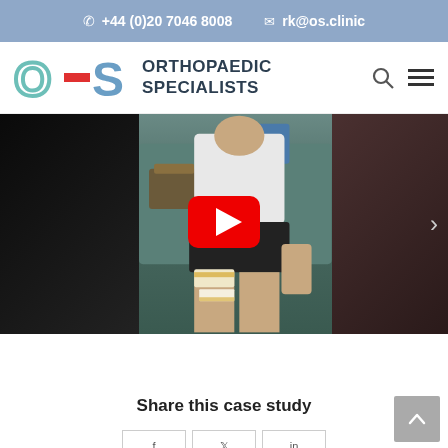+44 (0)20 7046 8008  rk@os.clinic
[Figure (logo): Orthopaedic Specialists logo with stylized O-S letters and text]
[Figure (screenshot): YouTube video thumbnail showing a man in white t-shirt with bandaged knee sitting on a medical bed, with YouTube play button overlay]
Share this case study
[Figure (other): Social share buttons row (partially visible)]